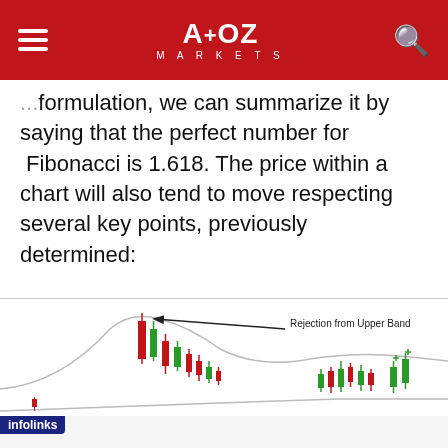A+OZ MARKETS
formulation, we can summarize it by saying that the perfect number for Fibonacci is 1.618. The price within a chart will also tend to move respecting several key points, previously determined:
[Figure (continuous-plot): Candlestick chart showing price movement with Bollinger Bands. An arrow points to the top of a candlestick labeled 'Rejection from Upper Band'. Red and green candlesticks are visible with the upper and lower Bollinger Band curves.]
[Figure (other): infolinks advertisement banner featuring emoji characters (devil, woman shrugging, angel face) and a BitLife game ad with 'REAL CHOICES' text on black background with yellow logo]